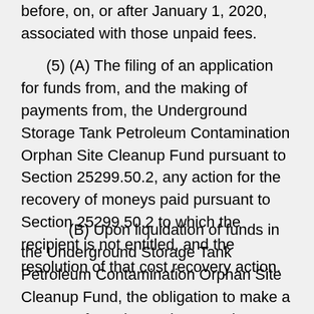before, on, or after January 1, 2020, associated with those unpaid fees.
(5) (A) The filing of an application for funds from, and the making of payments from, the Underground Storage Tank Petroleum Contamination Orphan Site Cleanup Fund pursuant to Section 25299.50.2, any action for the recovery of moneys paid pursuant to Section 25299.50.2 to which the recipient is not entitled, and the resolution of that cost recovery action.
(B) Upon liquidation of funds in the Underground Storage Tank Petroleum Contamination Orphan Site Cleanup Fund, the obligation to make a payment from the Underground Storage Tank Petroleum Contamination Orphan Site Cleanup Fund is